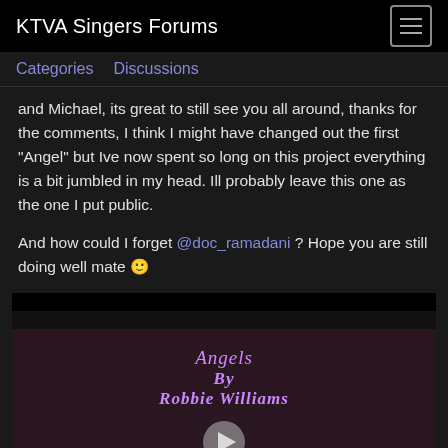KTVA Singers Forums
and Michael, its great to still see you all around, thanks for the comments, I think I might have changed out the first "Angel" but Ive now spent so long on this project everything is a bit jumbled in my head. Ill probably leave this one as the one I put public.
And how could I forget @doc_ramadani ? Hope you are still doing well mate 🙂
[Figure (screenshot): Video thumbnail showing 'Angels By Robbie Williams' title text in purple italic font on a dark background, with a play button at the bottom center]